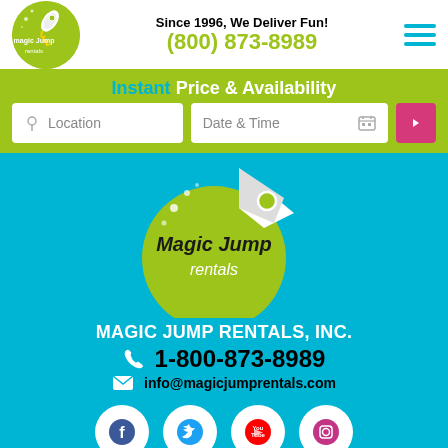[Figure (logo): Magic Jump Rentals logo - green circle with rocket ship and white text]
Since 1996, We Deliver Fun!
(800) 873-8989
[Figure (other): Hamburger menu icon - three horizontal cyan lines]
Instant Price & Availability
Location
Date & Time
[Figure (logo): Large Magic Jump Rentals logo on teal background - green circle with rocket and text]
MAGIC JUMP RENTALS, INC.
1-800-873-8989
info@magicjumprentals.com
[Figure (other): Social media icons row: Facebook, Twitter, YouTube, Instagram - white circles on teal]
[Figure (other): Star rating bar - partial view at bottom showing 4-5 star icons]